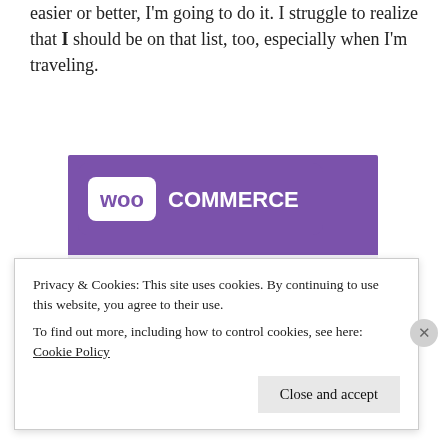easier or better, I'm going to do it. I struggle to realize that I should be on that list, too, especially when I'm traveling.
[Figure (illustration): WooCommerce promotional image with purple header containing the WooCommerce logo, decorative teal triangle on left, light blue quarter-circle on right, and bold text reading 'How to start selling subscriptions online']
Privacy & Cookies: This site uses cookies. By continuing to use this website, you agree to their use. To find out more, including how to control cookies, see here: Cookie Policy
Close and accept